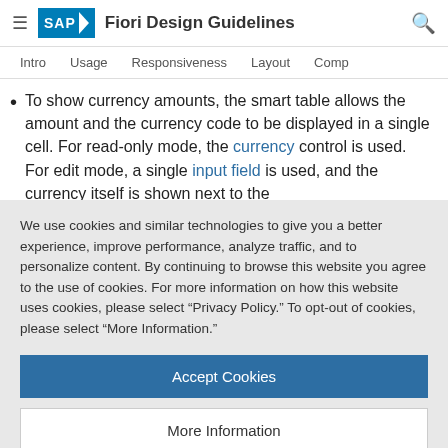SAP Fiori Design Guidelines
Intro  Usage  Responsiveness  Layout  Comp
To show currency amounts, the smart table allows the amount and the currency code to be displayed in a single cell. For read-only mode, the currency control is used. For edit mode, a single input field is used, and the currency itself is shown next to the
We use cookies and similar technologies to give you a better experience, improve performance, analyze traffic, and to personalize content. By continuing to browse this website you agree to the use of cookies. For more information on how this website uses cookies, please select “Privacy Policy.” To opt-out of cookies, please select “More Information.”
Accept Cookies
More Information
Privacy Policy | Powered by: TrustArc
sapDisplay.format(falseDate);